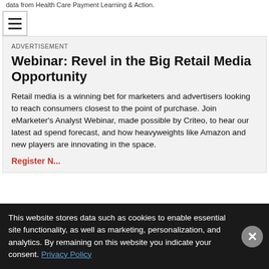data from Health Care Payment Learning & Action.
ADVERTISEMENT
Webinar: Revel in the Big Retail Media Opportunity
Retail media is a winning bet for marketers and advertisers looking to reach consumers closest to the point of purchase. Join eMarketer's Analyst Webinar, made possible by Criteo, to hear our latest ad spend forecast, and how heavyweights like Amazon and new players are innovating in the space.
Register Now
This website stores data such as cookies to enable essential site functionality, as well as marketing, personalization, and analytics. By remaining on this website you indicate your consent. Privacy Policy